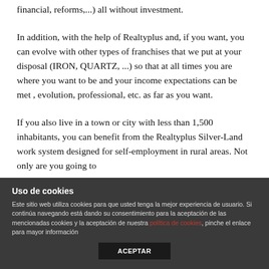financial, reforms,...) all without investment.
In addition, with the help of Realtyplus and, if you want, you can evolve with other types of franchises that we put at your disposal (IRON, QUARTZ, ...) so that at all times you are where you want to be and your income expectations can be met , evolution, professional, etc. as far as you want.
If you also live in a town or city with less than 1,500 inhabitants, you can benefit from the Realtyplus Silver-Land work system designed for self-employment in rural areas. Not only are you going to
Uso de cookies
Este sitio web utiliza cookies para que usted tenga la mejor experiencia de usuario. Si continúa navegando está dando su consentimiento para la aceptación de las mencionadas cookies y la aceptación de nuestra política de cookies, pinche el enlace para mayor información
ACEPTAR